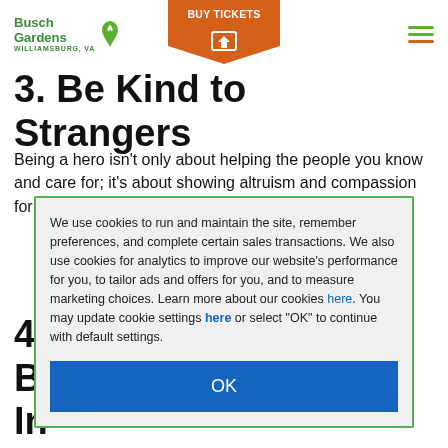Busch Gardens Williamsburg, VA | BUY TICKETS
3. Be Kind to Strangers
Being a hero isn't only about helping the people you know and care for; it's about showing altruism and compassion for everyone. You never know when a s...
We use cookies to run and maintain the site, remember preferences, and complete certain sales transactions. We also use cookies for analytics to improve our website's performance for you, to tailor ads and offers for you, and to measure marketing choices. Learn more about our cookies here. You may update cookie settings here or select "OK" to continue with default settings.
OK
4. Find A Cause You Believe In